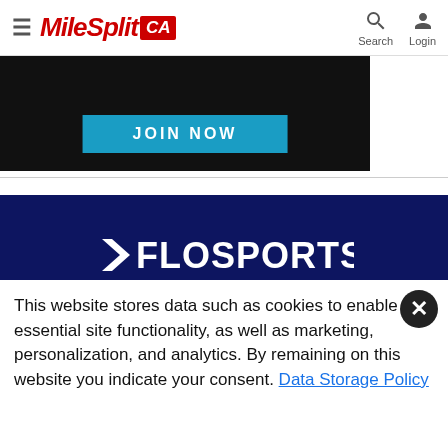MileSplit CA — Search, Login
[Figure (screenshot): Black banner with JOIN NOW button in teal]
[Figure (logo): FloSports logo in white on dark navy background]
© 2022 Copyright FloSports, Inc.
MileSplit California Editor: Jeffrey Parenti, jeffrey.parenti@flosports.tv
This website stores data such as cookies to enable essential site functionality, as well as marketing, personalization, and analytics. By remaining on this website you indicate your consent. Data Storage Policy